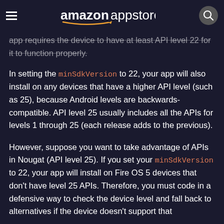Amazon Appstore
app requires the device to have at least API level 22 for it to function properly.
In setting the minSdkVersion to 22, your app will also install on any devices that have a higher API level (such as 25), because Android levels are backwards-compatible. API level 25 usually includes all the APIs for levels 1 through 25 (each release adds to the previous).
However, suppose you want to take advantage of APIs in Nougat (API level 25). If you set your minSdkVersion to 22, your app will install on Fire OS 5 devices that don't have level 25 APIs. Therefore, you must code in a defensive way to check the device level and fall back to alternatives if the device doesn't support that